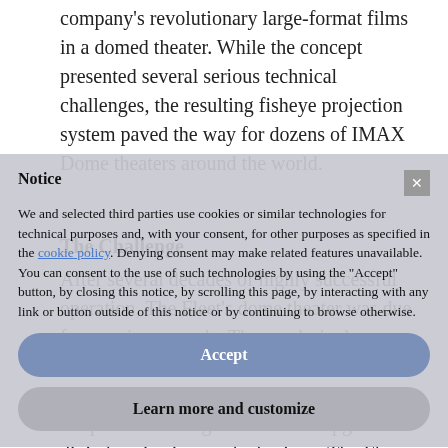company's revolutionary large-format films in a domed theater. While the concept presented several serious technical challenges, the resulting fisheye projection system paved the way for dozens of IMAX Dome theaters around the world.
The Challenge
After several decades of highly successful operation, The Fleet's dome theater was due for a major upgrade. The geodesic dome suffered from visible seam lines, which limited the immersive impact of the theater's wraparound configuration. With upgrades to digital projection on the horizon, The Fleet approached Spitz for solutions to return its theater to the forefront of dome projection.
Notice
We and selected third parties use cookies or similar technologies for technical purposes and, with your consent, for other purposes as specified in the cookie policy. Denying consent may make related features unavailable.
You can consent to the use of such technologies by using the "Accept" button, by closing this notice, by scrolling this page, by interacting with any link or button outside of this notice or by continuing to browse otherwise.
Accept
Learn more and customize